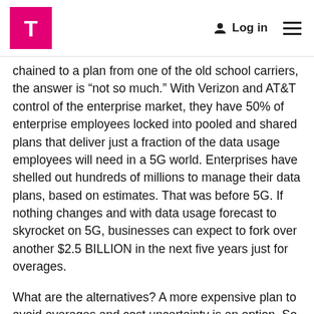T-Mobile logo, Log in, menu
chained to a plan from one of the old school carriers, the answer is “not so much.” With Verizon and AT&T control of the enterprise market, they have 50% of enterprise employees locked into pooled and shared plans that deliver just a fraction of the data usage employees will need in a 5G world. Enterprises have shelled out hundreds of millions to manage their data plans, based on estimates. That was before 5G. If nothing changes and with data usage forecast to skyrocket on 5G, businesses can expect to fork over another $2.5 BILLION in the next five years just for overages.
What are the alternatives? A more expensive plan to avoid overages and cost uncertainty is an option. So are consultants from the thriving “data cop” industry who